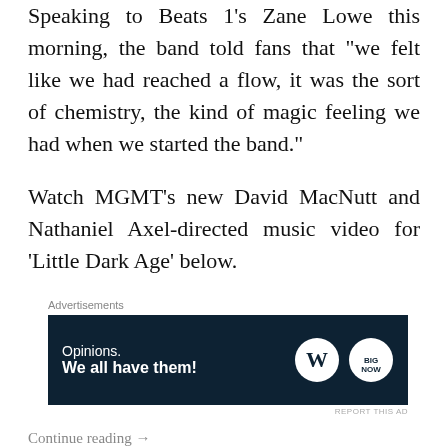Speaking to Beats 1's Zane Lowe this morning, the band told fans that "we felt like we had reached a flow, it was the sort of chemistry, the kind of magic feeling we had when we started the band."
Watch MGMT's new David MacNutt and Nathaniel Axel-directed music video for 'Little Dark Age' below.
Advertisements
[Figure (other): Advertisement banner with dark navy background. Text reads 'Opinions. We all have them!' with WordPress and another logo on the right.]
REPORT THIS AD
Continue reading →